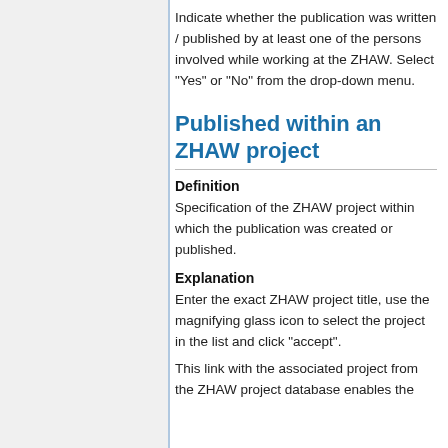Indicate whether the publication was written / published by at least one of the persons involved while working at the ZHAW. Select "Yes" or "No" from the drop-down menu.
Published within an ZHAW project
Definition
Specification of the ZHAW project within which the publication was created or published.
Explanation
Enter the exact ZHAW project title, use the magnifying glass icon to select the project in the list and click "accept".
This link with the associated project from the ZHAW project database enables the